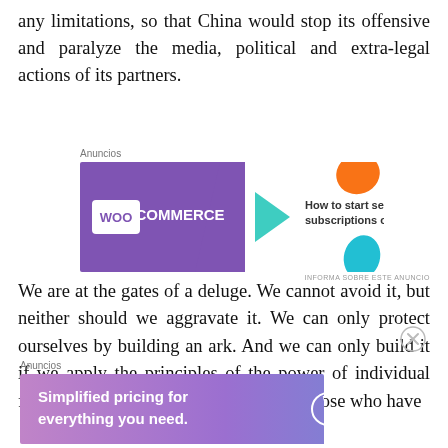any limitations, so that China would stop its offensive and paralyze the media, political and extra-legal actions of its partners.
[Figure (other): WooCommerce advertisement banner: purple background with WooCommerce logo, green arrow, text 'How to start selling subscriptions online', orange and teal decorative shapes]
We are at the gates of a deluge. We cannot avoid it, but neither should we aggravate it. We can only protect ourselves by building an ark. And we can only build it if we apply the principles of the power of individual freedom. Alone or united with others. Those who have
[Figure (other): WordPress.com advertisement banner: gradient purple-pink background with text 'Simplified pricing for everything you need.' and WordPress.com logo]